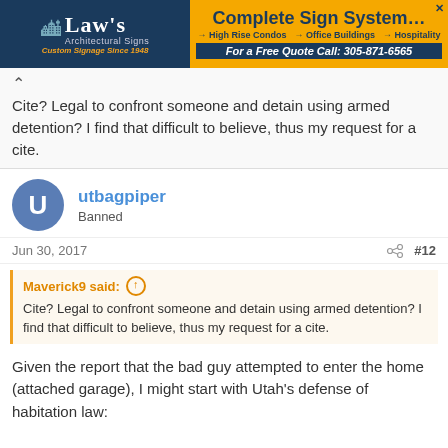[Figure (other): Advertisement banner for Law's Architectural Signs and Complete Sign Systems]
Cite? Legal to confront someone and detain using armed detention? I find that difficult to believe, thus my request for a cite.
utbagpiper
Banned
Jun 30, 2017  #12
Maverick9 said:
Cite? Legal to confront someone and detain using armed detention? I find that difficult to believe, thus my request for a cite.
Given the report that the bad guy attempted to enter the home (attached garage), I might start with Utah's defense of habitation law: